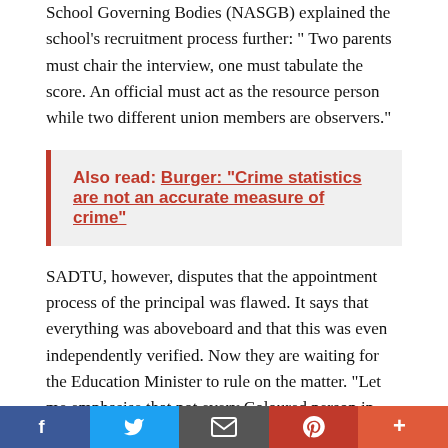School Governing Bodies (NASGB) explained the school's recruitment process further: " Two parents must chair the interview, one must tabulate the score. An official must act as the resource person while two different union members are observers."
Also read: Burger: "Crime statistics are not an accurate measure of crime"
SADTU, however, disputes that the appointment process of the principal was flawed. It says that everything was aboveboard and that this was even independently verified. Now they are waiting for the Education Minister to rule on the matter. "Let me emphasise that not every Coloured person in that community is buying this racism story. This is not the general view of the Klipspruit and Eldorado Park community but a few individuals that have business interests at the school. Th...
[Figure (infographic): Social sharing bar with Facebook, Twitter, email, Pinterest, and more buttons]